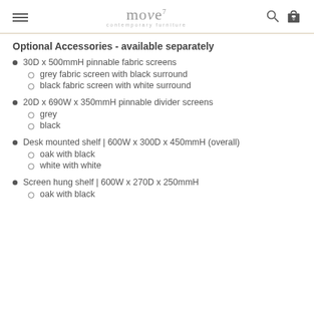move contemporary furniture
Optional Accessories - available separately
30D x 500mmH pinnable fabric screens
grey fabric screen with black surround
black fabric screen with white surround
20D x 690W x 350mmH pinnable divider screens
grey
black
Desk mounted shelf | 600W x 300D x 450mmH (overall)
oak with black
white with white
Screen hung shelf | 600W x 270D x 250mmH
oak with black